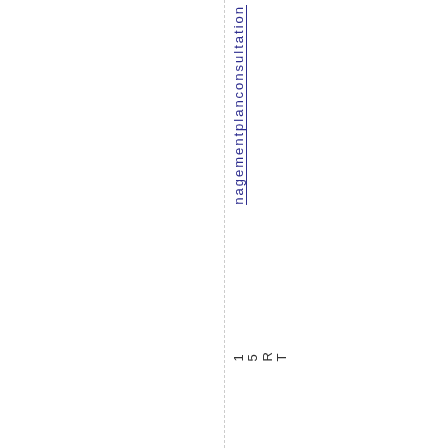managementplanconsultation
15RT